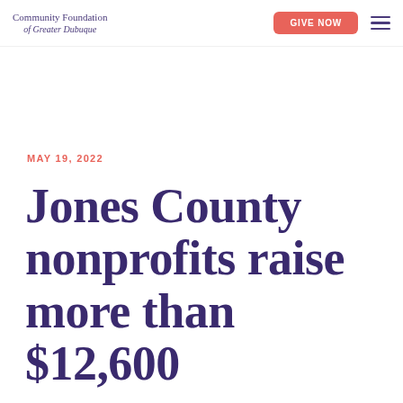Community Foundation of Greater Dubuque | GIVE NOW
MAY 19, 2022
Jones County nonprofits raise more than $12,600